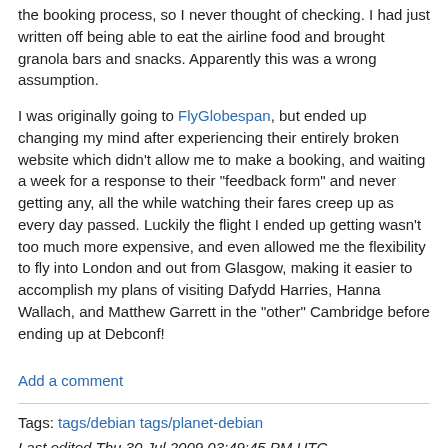the booking process, so I never thought of checking. I had just written off being able to eat the airline food and brought granola bars and snacks. Apparently this was a wrong assumption.
I was originally going to FlyGlobespan, but ended up changing my mind after experiencing their entirely broken website which didn't allow me to make a booking, and waiting a week for a response to their "feedback form" and never getting any, all the while watching their fares creep up as every day passed. Luckily the flight I ended up getting wasn't too much more expensive, and even allowed me the flexibility to fly into London and out from Glasgow, making it easier to accomplish my plans of visiting Dafydd Harries, Hanna Wallach, and Matthew Garrett in the "other" Cambridge before ending up at Debconf!
Add a comment
Tags: tags/debian tags/planet-debian
Last edited Thu 30 Jul 2009 03:49:45 PM UTC